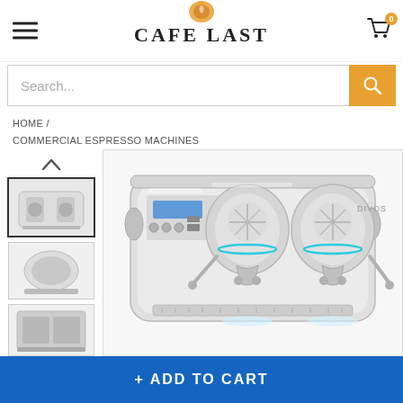CAFE LAST
Search...
HOME / COMMERCIAL ESPRESSO MACHINES
[Figure (photo): Commercial espresso machine product page showing a white/chrome multi-group espresso machine (Divos brand) with two group heads, chrome accents, and blue LED lighting. Thumbnail sidebar shows three product images on the left.]
+ ADD TO CART